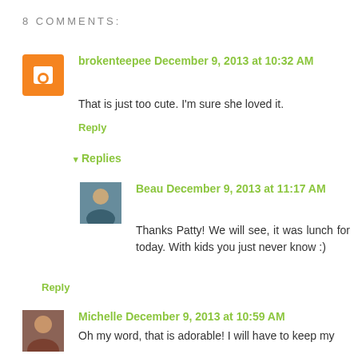8 COMMENTS:
brokenteepee December 9, 2013 at 10:32 AM
That is just too cute. I'm sure she loved it.
Reply
Replies
Beau December 9, 2013 at 11:17 AM
Thanks Patty! We will see, it was lunch for today. With kids you just never know :)
Reply
Michelle December 9, 2013 at 10:59 AM
Oh my word, that is adorable! I will have to keep my